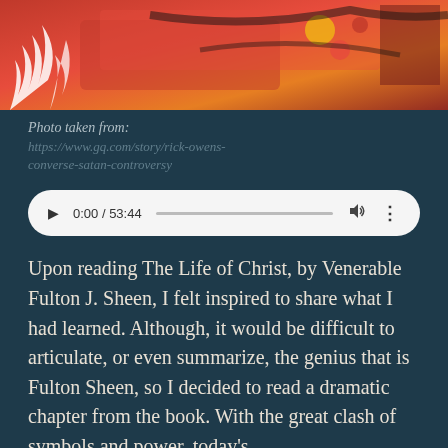[Figure (photo): Partial view of a colorful artwork or photo with red, orange, yellow and dark tones — flames and abstract shapes visible]
Photo taken from:
https://www.gq.com/story/rick-owens-converse-satan-controversy
[Figure (other): Audio player widget showing 0:00 / 53:44 with play button, progress bar, volume and more options icons]
Upon reading The Life of Christ, by Venerable Fulton J. Sheen, I felt inspired to share what I had learned. Although, it would be difficult to articulate, or even summarize, the genius that is Fulton Sheen, so I decided to read a dramatic chapter from the book. With the great clash of symbols and power, today's